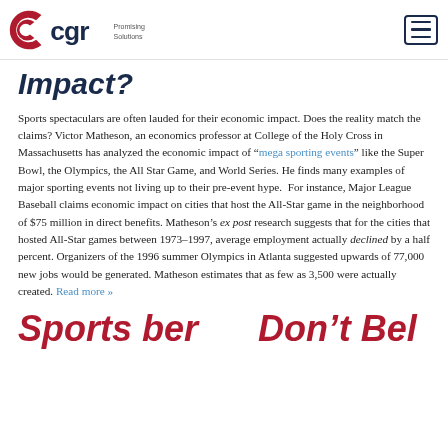CGR Promising Solutions [logo]
Impact?
Sports spectaculars are often lauded for their economic impact. Does the reality match the claims? Victor Matheson, an economics professor at College of the Holy Cross in Massachusetts has analyzed the economic impact of “mega sporting events” like the Super Bowl, the Olympics, the All Star Game, and World Series. He finds many examples of major sporting events not living up to their pre-event hype. For instance, Major League Baseball claims economic impact on cities that host the All-Star game in the neighborhood of $75 million in direct benefits. Matheson’s ex post research suggests that for the cities that hosted All-Star games between 1973–1997, average employment actually declined by a half percent. Organizers of the 1996 summer Olympics in Atlanta suggested upwards of 77,000 new jobs would be generated. Matheson estimates that as few as 3,500 were actually created. Read more »
Sports ber Don't Bel...